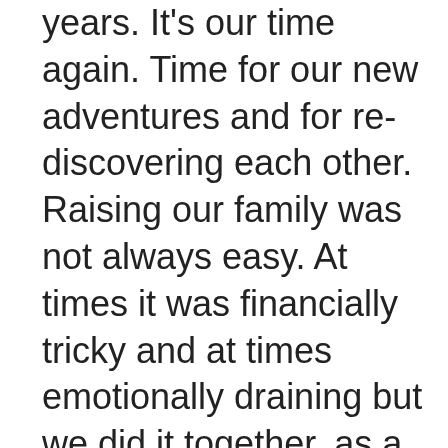years. It's our time again. Time for our new adventures and for re-discovering each other. Raising our family was not always easy. At times it was financially tricky and at times emotionally draining but we did it together, as a family, always appreciating what we had, and always working hard to get what we wanted. Sometimes we failed and while many may not consider what we we have achieved as the ideal